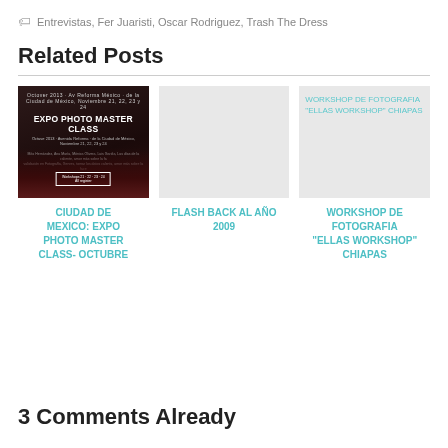Entrevistas, Fer Juaristi, Oscar Rodriguez, Trash The Dress
Related Posts
[Figure (photo): Expo Photo Master Class promotional image with dark background showing a woman's face and event details for Ciudad de Mexico event]
CIUDAD DE MEXICO: EXPO PHOTO MASTER CLASS- OCTUBRE
[Figure (photo): Gray placeholder image for Flash Back al Año 2009 post]
Flash Back al Año 2009
[Figure (photo): Gray placeholder image with text: WORKSHOP DE FOTOGRAFIA "ELLAS WORKSHOP" CHIAPAS]
WORKSHOP DE FOTOGRAFIA "ELLAS WORKSHOP" CHIAPAS
3 Comments Already